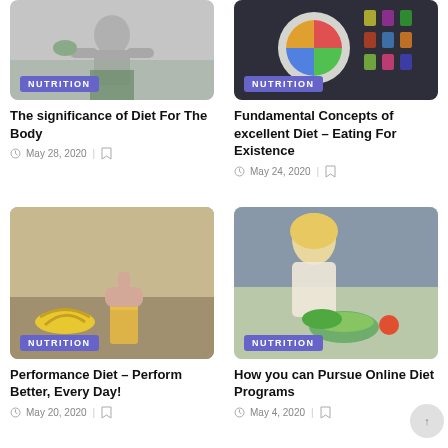[Figure (photo): Muscular figure holding a salad bowl — nutrition article image with NUTRITION badge]
The significance of Diet For The Body
May 28, 2020
[Figure (photo): Colorful food plate diagram on dark background — nutrition article image with NUTRITION badge]
Fundamental Concepts of excellent Diet – Eating For Existence
May 24, 2020
[Figure (photo): Person holding a glass of juice with bananas on counter — nutrition article image with NUTRITION badge]
Performance Diet – Perform Better, Every Day!
May 20, 2020
[Figure (photo): Blonde woman preparing salad with vegetables — nutrition article image with NUTRITION badge]
How you can Pursue Online Diet Programs
May 4, 2020